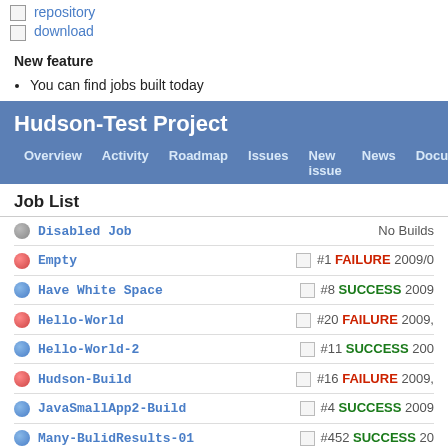repository
download
New feature
You can find jobs built today
[Figure (screenshot): Hudson-Test Project navigation bar with tabs: Overview, Activity, Roadmap, Issues, New issue, News, Document]
Job List
| Status | Job Name | Build Info |
| --- | --- | --- |
| grey | Disabled Job | No Builds |
| red | Empty | #1 FAILURE 2009/0... |
| blue | Have White Space | #8 SUCCESS 2009... |
| red | Hello-World | #20 FAILURE 2009... |
| blue | Hello-World-2 | #11 SUCCESS 200... |
| red | Hudson-Build | #16 FAILURE 2009... |
| blue | JavaSmallApp2-Build | #4 SUCCESS 2009... |
| blue | Many-BulidResults-01 | #452 SUCCESS 20... |
| blue | Many-BulidResults-02 | #959 SUCCESS 20... |